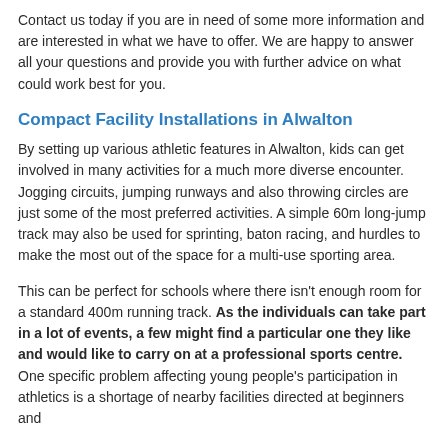people looking to begin a career in athletics by the AAA Charity for the Young.
Contact us today if you are in need of some more information and are interested in what we have to offer. We are happy to answer all your questions and provide you with further advice on what could work best for you.
Compact Facility Installations in Alwalton
By setting up various athletic features in Alwalton, kids can get involved in many activities for a much more diverse encounter. Jogging circuits, jumping runways and also throwing circles are just some of the most preferred activities. A simple 60m long-jump track may also be used for sprinting, baton racing, and hurdles to make the most out of the space for a multi-use sporting area.
This can be perfect for schools where there isn't enough room for a standard 400m running track. As the individuals can take part in a lot of events, a few might find a particular one they like and would like to carry on at a professional sports centre. One specific problem affecting young people's participation in athletics is a shortage of nearby facilities directed at beginners and